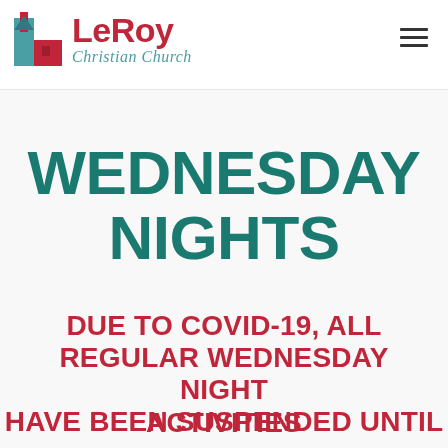Le Roy Christian Church
WEDNESDAY NIGHTS
DUE TO COVID-19, ALL REGULAR WEDNESDAY NIGHT ACTIVITIES
HAVE BEEN SUSPENDED UNTIL